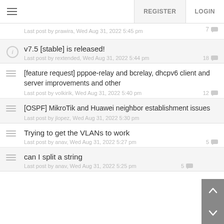REGISTER  LOGIN
Last post by prawira, Wed Aug 31, 2022 5:45 pm  7
v7.5 [stable] is released!
Last post by rextended, Wed Aug 31, 2022 5:44 pm  18
[feature request] pppoe-relay and bcrelay, dhcpv6 client and server improvements and other
Last post by volkirik, Wed Aug 31, 2022 5:40 pm  12
[OSPF] MikroTik and Huawei neighbor establishment issues
Last post by jlopez, Wed Aug 31, 2022 5:30 pm
Trying to get the VLANs to work
Last post by anav, Wed Aug 31, 2022 5:27 pm  5
can I split a string
Last post by anav, Wed Aug 31, 2022 5:25 pm  5